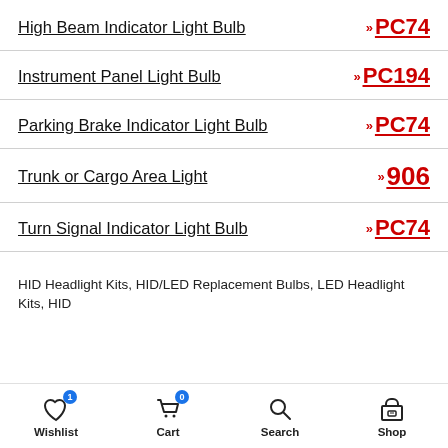High Beam Indicator Light Bulb » PC74
Instrument Panel Light Bulb » PC194
Parking Brake Indicator Light Bulb » PC74
Trunk or Cargo Area Light » 906
Turn Signal Indicator Light Bulb » PC74
HID Headlight Kits, HID/LED Replacement Bulbs, LED Headlight Kits, HID
Wishlist  Cart  Search  Shop